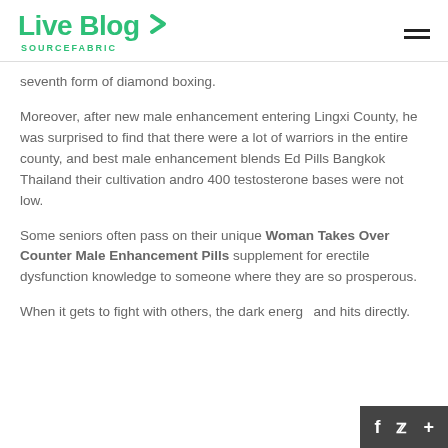Live Blog SOURCEFABRIC
seventh form of diamond boxing.
Moreover, after new male enhancement entering Lingxi County, he was surprised to find that there were a lot of warriors in the entire county, and best male enhancement blends Ed Pills Bangkok Thailand their cultivation andro 400 testosterone bases were not low.
Some seniors often pass on their unique Woman Takes Over Counter Male Enhancement Pills supplement for erectile dysfunction knowledge to someone where they are so prosperous.
When it gets to fight with others, the dark energy and hits directly.